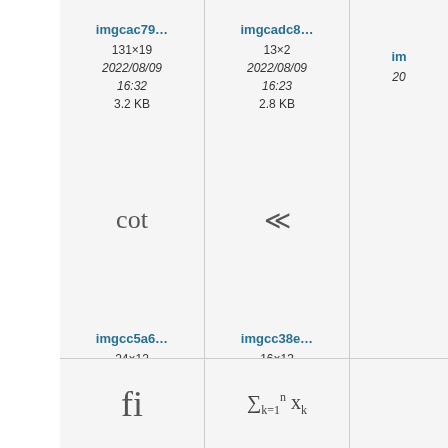[Figure (screenshot): File browser thumbnail grid showing image files with metadata. Row 1: imgcac79... (131×19, 2022/08/09 16:32, 3.2 KB), imgcadc8... (13×2, 2022/08/09 16:23, 2.8 KB), partial third card. Row 2: symbol cards showing 'cot', '≪', partial third. Row 3: imgcc5a6... (24×12, 2022/08/10 18:12, 2.9 KB), imgcc38e... (16×13, 2022/08/10 06:59, 2.9 KB), partial third. Row 4 (partial): 'fi' symbol card, summation formula card.]